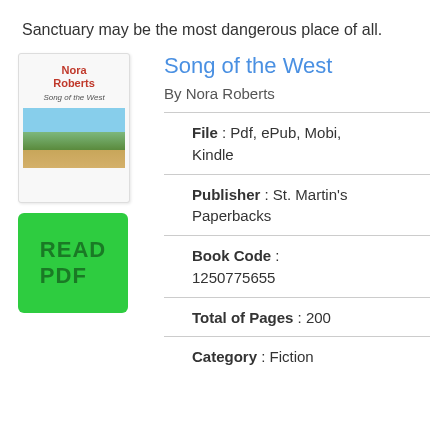Sanctuary may be the most dangerous place of all.
Song of the West
By Nora Roberts
[Figure (illustration): Book cover of Song of the West by Nora Roberts showing author name in red and a landscape scene]
[Figure (other): Green READ PDF button]
File : Pdf, ePub, Mobi, Kindle
Publisher : St. Martin's Paperbacks
Book Code : 1250775655
Total of Pages : 200
Category : Fiction